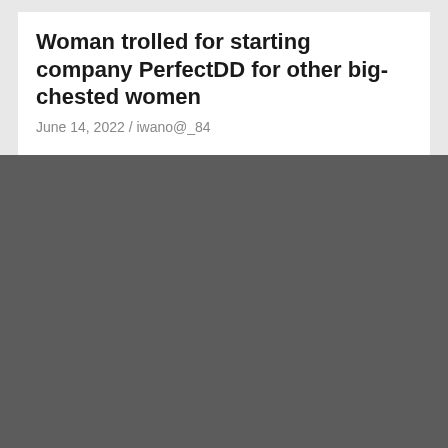Woman trolled for starting company PerfectDD for other big-chested women
June 14, 2022 / iwano@_84
[Figure (photo): Dark gray placeholder image with a red CLOTHING badge in the bottom left and a red scroll-to-top arrow button in the bottom right]
A new start after 60: ‘Selling vintage clothes takes me back to happier days’ | Life and style